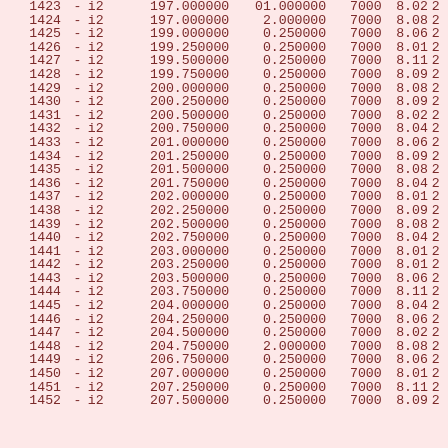| id |  | type | v1 | v2 | v3 | v4 | v5 |
| --- | --- | --- | --- | --- | --- | --- | --- |
| 1423 | - | i2 | 197.000000 | 01.000000 | 7000 | 8.02 | 2 |
| 1424 | - | i2 | 197.000000 | 2.000000 | 7000 | 8.08 | 2 |
| 1425 | - | i2 | 199.000000 | 0.250000 | 7000 | 8.06 | 2 |
| 1426 | - | i2 | 199.250000 | 0.250000 | 7000 | 8.01 | 2 |
| 1427 | - | i2 | 199.500000 | 0.250000 | 7000 | 8.11 | 2 |
| 1428 | - | i2 | 199.750000 | 0.250000 | 7000 | 8.09 | 2 |
| 1429 | - | i2 | 200.000000 | 0.250000 | 7000 | 8.08 | 2 |
| 1430 | - | i2 | 200.250000 | 0.250000 | 7000 | 8.09 | 2 |
| 1431 | - | i2 | 200.500000 | 0.250000 | 7000 | 8.02 | 2 |
| 1432 | - | i2 | 200.750000 | 0.250000 | 7000 | 8.04 | 2 |
| 1433 | - | i2 | 201.000000 | 0.250000 | 7000 | 8.06 | 2 |
| 1434 | - | i2 | 201.250000 | 0.250000 | 7000 | 8.09 | 2 |
| 1435 | - | i2 | 201.500000 | 0.250000 | 7000 | 8.08 | 2 |
| 1436 | - | i2 | 201.750000 | 0.250000 | 7000 | 8.04 | 2 |
| 1437 | - | i2 | 202.000000 | 0.250000 | 7000 | 8.01 | 2 |
| 1438 | - | i2 | 202.250000 | 0.250000 | 7000 | 8.09 | 2 |
| 1439 | - | i2 | 202.500000 | 0.250000 | 7000 | 8.08 | 2 |
| 1440 | - | i2 | 202.750000 | 0.250000 | 7000 | 8.04 | 2 |
| 1441 | - | i2 | 203.000000 | 0.250000 | 7000 | 8.01 | 2 |
| 1442 | - | i2 | 203.250000 | 0.250000 | 7000 | 8.01 | 2 |
| 1443 | - | i2 | 203.500000 | 0.250000 | 7000 | 8.06 | 2 |
| 1444 | - | i2 | 203.750000 | 0.250000 | 7000 | 8.11 | 2 |
| 1445 | - | i2 | 204.000000 | 0.250000 | 7000 | 8.04 | 2 |
| 1446 | - | i2 | 204.250000 | 0.250000 | 7000 | 8.06 | 2 |
| 1447 | - | i2 | 204.500000 | 0.250000 | 7000 | 8.02 | 2 |
| 1448 | - | i2 | 204.750000 | 2.000000 | 7000 | 8.08 | 2 |
| 1449 | - | i2 | 206.750000 | 0.250000 | 7000 | 8.06 | 2 |
| 1450 | - | i2 | 207.000000 | 0.250000 | 7000 | 8.01 | 2 |
| 1451 | - | i2 | 207.250000 | 0.250000 | 7000 | 8.11 | 2 |
| 1452 | - | i2 | 207.500000 | 0.250000 | 7000 | 8.09 | 2 |